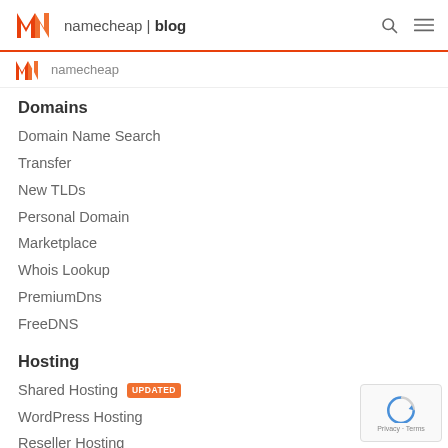namecheap | blog
[Figure (logo): Namecheap logo with orange N and text 'namecheap | blog' plus search and menu icons]
Domains
Domain Name Search
Transfer
New TLDs
Personal Domain
Marketplace
Whois Lookup
PremiumDns
FreeDNS
Hosting
Shared Hosting UPDATED
WordPress Hosting
Reseller Hosting